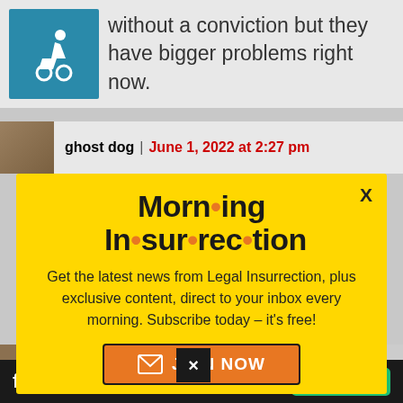without a conviction but they have bigger problems right now.
ghost dog | June 1, 2022 at 2:27 pm
[Figure (infographic): Modal popup with yellow background titled 'Morning Insurrection' newsletter subscription prompt with 'JOIN NOW' button]
ghost dog reply to The Beatles Top
[Figure (logo): Fiverr advertisement bar with 'fiverr' logo and 'Start Now' green button]
Every time